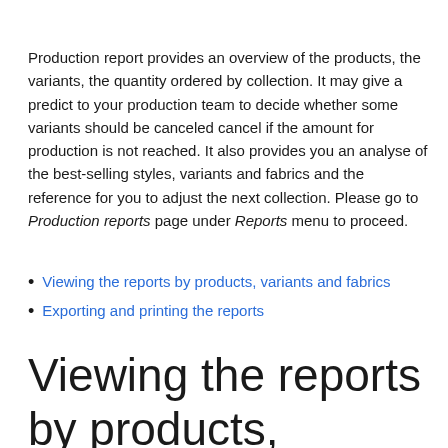Production report provides an overview of the products, the variants, the quantity ordered by collection. It may give a predict to your production team to decide whether some variants should be canceled cancel if the amount for production is not reached. It also provides you an analyse of the best-selling styles, variants and fabrics and the reference for you to adjust the next collection. Please go to Production reports page under Reports menu to proceed.
Viewing the reports by products, variants and fabrics
Exporting and printing the reports
Viewing the reports by products, variants and